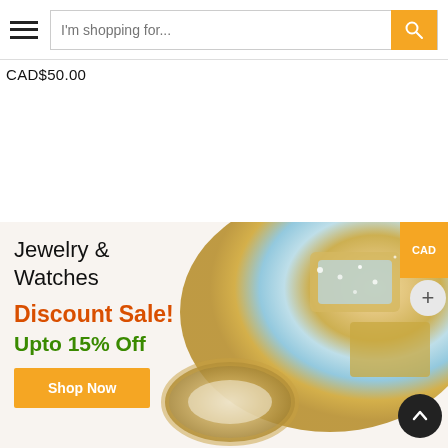I'm shopping for...
CAD$50.00
[Figure (screenshot): E-commerce jewelry and watches banner section with diamond-studded gold rings and watches, discount sale promotion]
Jewelry & Watches
Discount Sale!
Upto 15% Off
Shop Now
CAD